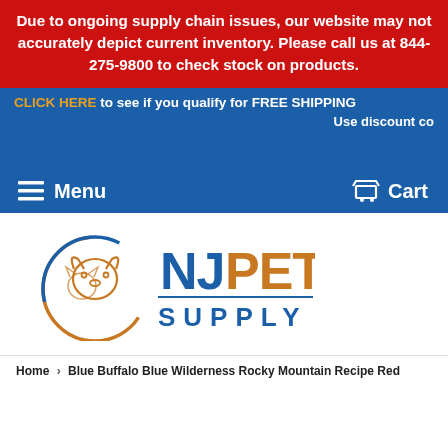Due to ongoing supply chain issues, our website may not accurately depict current inventory. Please call us at 844-275-9800 to check stock on products.
CLICK HERE to see if you qualify for FREE SHIPPING
Use discount co
Menu   Cart
[Figure (logo): NJ Pet Supply logo with dog and cat outline in a circle, NJ PET in blue and orange, SUPPLY in blue]
Home › Blue Buffalo Blue Wilderness Rocky Mountain Recipe Red